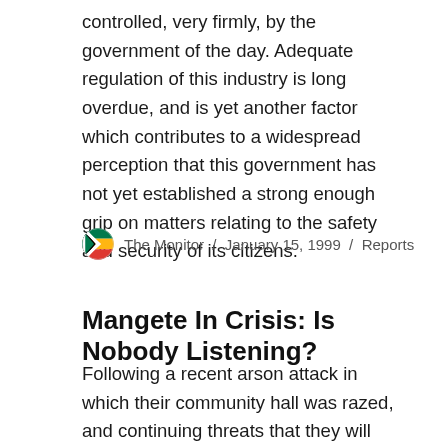controlled, very firmly, by the government of the day. Adequate regulation of this industry is long overdue, and is yet another factor which contributes to a widespread perception that this government has not yet established a strong enough grip on matters relating to the safety and security of its citizens.
The Monitor / January 15, 1999 / Reports
Mangete In Crisis: Is Nobody Listening?
Following a recent arson attack in which their community hall was razed, and continuing threats that they will be driven off their ancestral lands, members of the Dunn farming community of the KZN north coast are living in fear of their lives. For